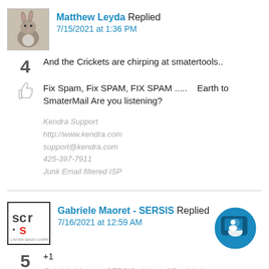Matthew Leyda Replied 7/15/2021 at 1:36 PM
And the Crickets are chirping at smatertools..
Fix Spam, Fix SPAM, FIX SPAM .....   Earth to SmaterMail Are you listening?
Kendra Support
http://www.kendra.com
support@kendra.com
425-397-7911
Junk Email filtered ISP
Gabriele Maoret - SERSIS Replied 7/16/2021 at 12:59 AM
+1
Gabriele Maoret - SERSIS - Head of SysAdmins